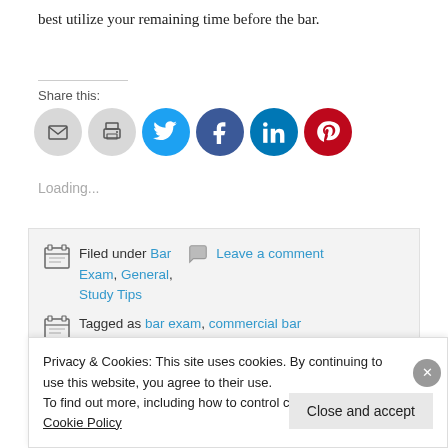best utilize your remaining time before the bar.
Share this:
[Figure (other): Social sharing icons: email (gray), print (gray), Twitter (blue), Facebook (dark blue), LinkedIn (teal), Pinterest (red)]
Loading...
Filed under Bar Exam, General, Study Tips   Leave a comment
Tagged as bar exam, commercial bar prep course, MBE, National
Privacy & Cookies: This site uses cookies. By continuing to use this website, you agree to their use.
To find out more, including how to control cookies, see here: Cookie Policy
Close and accept